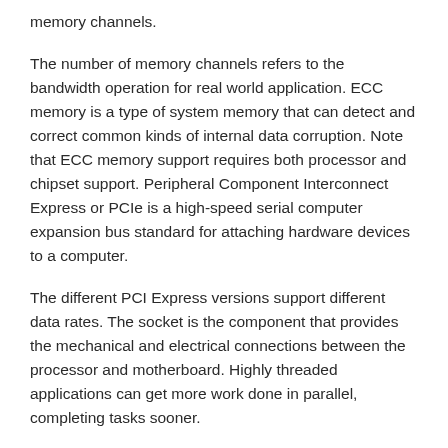memory channels.
The number of memory channels refers to the bandwidth operation for real world application. ECC memory is a type of system memory that can detect and correct common kinds of internal data corruption. Note that ECC memory support requires both processor and chipset support. Peripheral Component Interconnect Express or PCIe is a high-speed serial computer expansion bus standard for attaching hardware devices to a computer.
The different PCI Express versions support different data rates. The socket is the component that provides the mechanical and electrical connections between the processor and motherboard. Highly threaded applications can get more work done in parallel, completing tasks sooner.
It offers improved manageability by limiting downtime and maintaining productivity by isolating computing activities